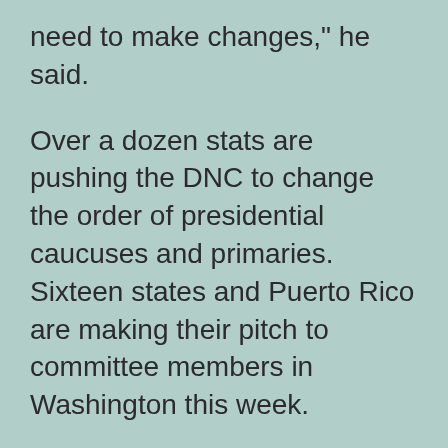need to make changes," he said.
Over a dozen stats are pushing the DNC to change the order of presidential caucuses and primaries. Sixteen states and Puerto Rico are making their pitch to committee members in Washington this week.
Nevada Democrats say their state is a better fit for the modern Democratic party.
“Nevada represents the bright future of the Democratic party,” Nevada Democratic Caucus Chairwoman Judith Whitmer said. “Whether it’s diversity, competition, or availability to a…